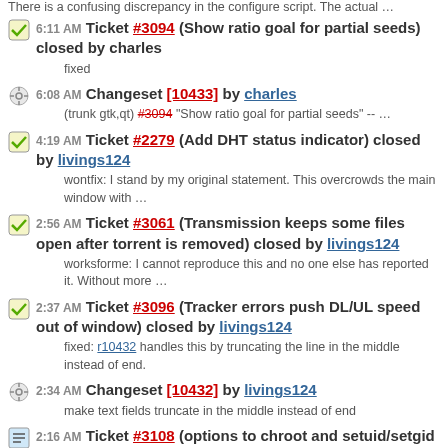There is a confusing discrepancy in the configure script. The actual …
6:11 AM Ticket #3094 (Show ratio goal for partial seeds) closed by charles
fixed
6:08 AM Changeset [10433] by charles
(trunk gtk,qt) #3094 "Show ratio goal for partial seeds" -- …
4:19 AM Ticket #2279 (Add DHT status indicator) closed by livings124
wontfix: I stand by my original statement. This overcrowds the main window with …
2:56 AM Ticket #3061 (Transmission keeps some files open after torrent is removed) closed by livings124
worksforme: I cannot reproduce this and no one else has reported it. Without more …
2:37 AM Ticket #3096 (Tracker errors push DL/UL speed out of window) closed by livings124
fixed: r10432 handles this by truncating the line in the middle instead of end.
2:34 AM Changeset [10432] by livings124
make text fields truncate in the middle instead of end
2:16 AM Ticket #3108 (options to chroot and setuid/setgid for daemon) created by User294
In cases when security matters, it is a good practice to chroot daemon …